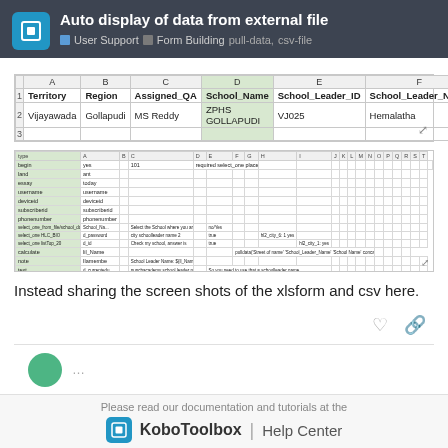Auto display of data from external file — User Support, Form Building, pull-data, csv-file
[Figure (screenshot): Spreadsheet screenshot showing columns A-F with headers: Territory, Region, Assigned_QA, School_Name (highlighted), School_Leader_ID, School_Leader_Name. Data row: Vijayawada, Gollapudi, MS Reddy, ZPHS GOLLAPUDI, VJ025, Hemalatha]
[Figure (screenshot): Second spreadsheet screenshot showing an xlsform with multiple rows and columns including type, label, required, constraint fields and various select_one question types]
Instead sharing the screen shots of the xlsform and csv here.
Please read our documentation and tutorials at the KoboToolbox | Help Center